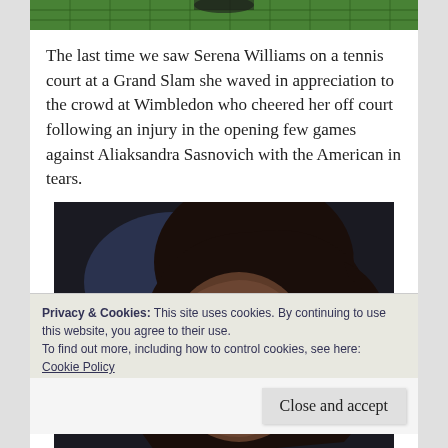[Figure (photo): Top portion of a tennis net photo, green net visible]
The last time we saw Serena Williams on a tennis court at a Grand Slam she waved in appreciation to the crowd at Wimbledon who cheered her off court following an injury in the opening few games against Aliaksandra Sasnovich with the American in tears.
[Figure (photo): Close-up photo of Serena Williams wearing a white headband, looking emotional, dark background]
Privacy & Cookies: This site uses cookies. By continuing to use this website, you agree to their use.
To find out more, including how to control cookies, see here:
Cookie Policy
Close and accept